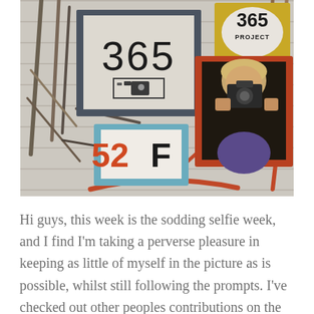[Figure (photo): Decorative photo showing multiple picture frames on a white plank wall with twigs/branches. Frames include: a large dark grey frame with '365' and a camera icon, a small gold oval frame with '365 PROJECT', a red/rust frame showing a person taking a selfie with a camera, and a light blue frame with '52F'. Various dark and reddish twigs and branches are arranged around the frames.]
Hi guys, this week is the sodding selfie week, and I find I'm taking a perverse pleasure in keeping as little of myself in the picture as is possible, whilst still following the prompts. I've checked out other peoples contributions on the